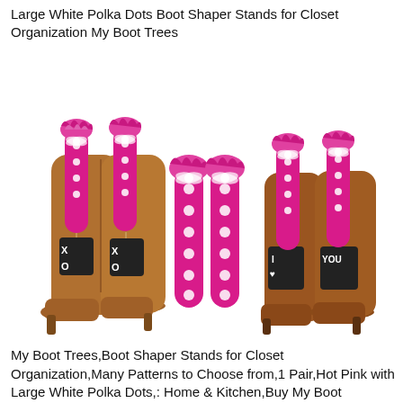Large White Polka Dots Boot Shaper Stands for Closet Organization My Boot Trees
[Figure (photo): Product photo showing pink hot polka dot boot shapers/trees inserted into brown leather boots. Left pair of tall knee-high brown boots with XO tag labels and pink polka dot shapers inside. Center: two standalone pink hot-pink polka dot cylindrical boot shapers. Right: two brown ankle/mid-calf heeled boots with 'I heart YOU' tags and pink polka dot shapers inserted.]
My Boot Trees,Boot Shaper Stands for Closet Organization,Many Patterns to Choose from,1 Pair,Hot Pink with Large White Polka Dots,: Home & Kitchen,Buy My Boot Trees,Boot Shaper Stands for Closet